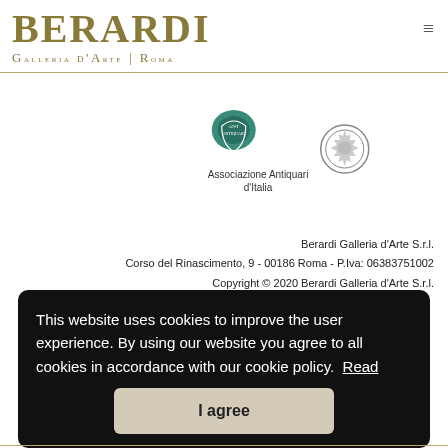BERARDI
Galleria d'Arte | Roma
[Figure (logo): Associazione Antiquari d'Italia logo with shield and text]
[Figure (logo): Circular emblem logo]
Associazione Antiquari d'Italia
Berardi Galleria d'Arte S.r.l.
Corso del Rinascimento, 9 - 00186 Roma - P.Iva: 06383751002
Copyright © 2020 Berardi Galleria d'Arte S.r.l.
This website uses cookies to improve the user experience. By using our website you agree to all cookies in accordance with our cookie policy. Read
I agree